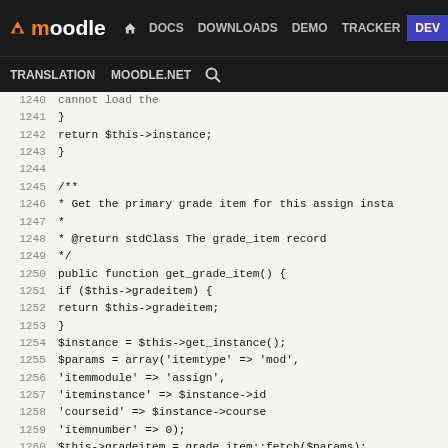moodle DOCS DOWNLOADS DEMO TRACKER DEV
TRANSLATION MOODLE.NET search
[Figure (screenshot): Moodle developer documentation website navigation bar with logo, nav links (DOCS, DOWNLOADS, DEMO, TRACKER, DEV highlighted in blue), and sub-navigation with TRANSLATION, MOODLE.NET, and search icon]
PHP source code viewer showing lines 1240-1266 of a Moodle assignment grading class, including get_grade_item() function implementation